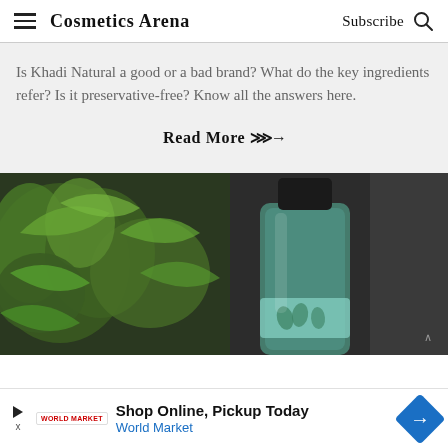Cosmetics Arena  Subscribe
Is Khadi Natural a good or a bad brand? What do the key ingredients refer? Is it preservative-free? Know all the answers here.
Read More >>>→
[Figure (photo): Dark moody photograph of a green glass cosmetic bottle with a black cap, surrounded by green tropical plants against a dark grey background.]
Shop Online, Pickup Today  World Market